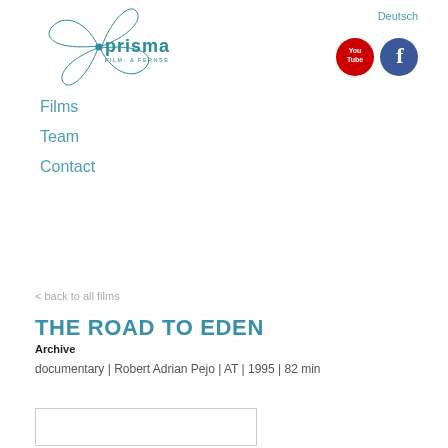[Figure (logo): Prisma Film- & Fernsehproduktion logo with stylized butterfly/arrow and teal text]
[Figure (logo): YouTube red circle icon and Facebook blue circle icon, with Deutsch link above]
Films
Team
Contact
< back to all films
THE ROAD TO EDEN
Archive
documentary | Robert Adrian Pejo | AT | 1995 | 82 min